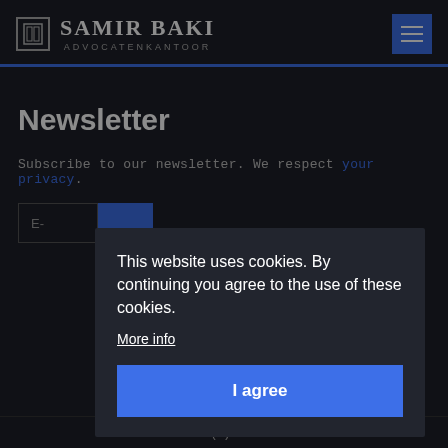[Figure (logo): Samir Baki Advocatenkantoor logo with icon and text]
Newsletter
Subscribe to our newsletter. We respect your privacy.
[Figure (screenshot): Cookie consent overlay: 'This website uses cookies. By continuing you agree to the use of these cookies. More info' and 'I agree' button]
0032(0)2 307 67 37